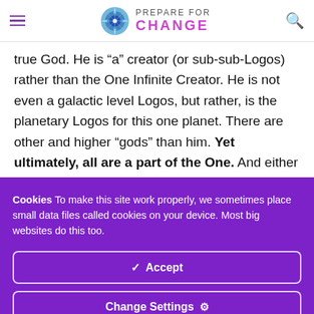Prepare For Change
true God. He is “a” creator (or sub-sub-Logos) rather than the One Infinite Creator. He is not even a galactic level Logos, but rather, is the planetary Logos for this one planet. There are other and higher “gods” than him. Yet ultimately, all are a part of the One. And either consciously or unconsciously, all are exercising their free will to create.
Cookies To make this site work properly, we sometimes place small data files called cookies on your device. Most big websites do this too.
✓ Accept
Change Settings ⚙